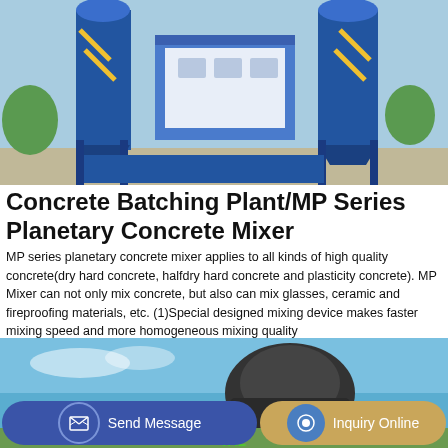[Figure (photo): Industrial concrete batching plant with blue steel structure, silos, conveyors, and a white office building in the background. Outdoor setting with clear sky.]
Concrete Batching Plant/MP Series Planetary Concrete Mixer
MP series planetary concrete mixer applies to all kinds of high quality concrete(dry hard concrete, halfdry hard concrete and plasticity concrete). MP Mixer can not only mix concrete, but also can mix glasses, ceramic and fireproofing materials, etc. (1)Special designed mixing device makes faster mixing speed and more homogeneous mixing quality
GET A QUOTE
[Figure (photo): Concrete mixer truck with rotating drum against a blue sky background, partial view showing the drum and mixing mechanism.]
Send Message
Inquiry Online